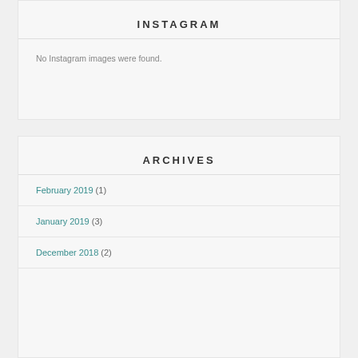INSTAGRAM
No Instagram images were found.
ARCHIVES
February 2019 (1)
January 2019 (3)
December 2018 (2)